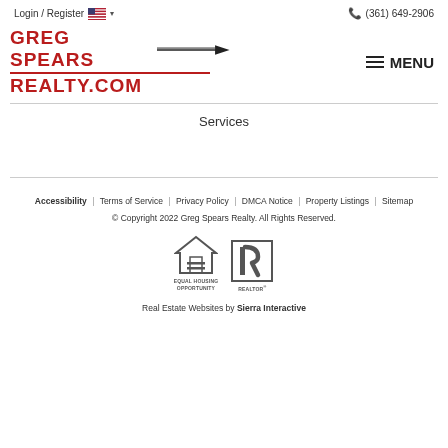Login / Register  (361) 649-2906
[Figure (logo): Greg Spears Realty.com logo with red bold text and black arrow graphic]
Services
Accessibility | Terms of Service | Privacy Policy | DMCA Notice | Property Listings | Sitemap
© Copyright 2022 Greg Spears Realty. All Rights Reserved.
[Figure (logo): Equal Housing Opportunity logo and Realtor logo badges]
Real Estate Websites by Sierra Interactive